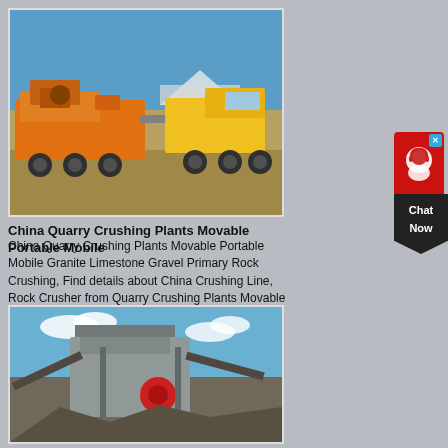[Figure (photo): Mobile quarry crushing plant mounted on large yellow trucks, outdoors on dirt/sand terrain with blue sky background]
China Quarry Crushing Plants Movable Portable Mobile
China Quarry Crushing Plants Movable Portable Mobile Granite Limestone Gravel Primary Rock Crushing, Find details about China Crushing Line, Rock Crusher from Quarry Crushing Plants Movable Portable Mobile Granite Limestone Gravel Primary Rock Crushing obtenir le prix
[Figure (photo): Industrial rock crushing plant with conveyor belts and machinery against blue sky with white clouds]